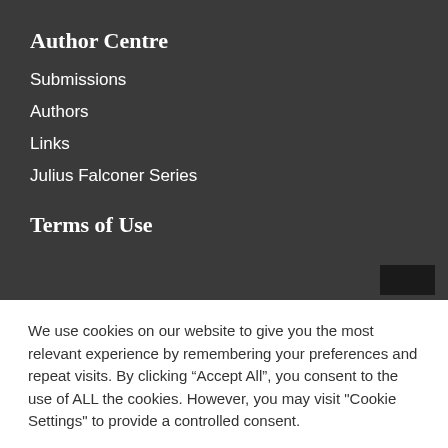Author Centre
Submissions
Authors
Links
Julius Falconer Series
Terms of Use
We use cookies on our website to give you the most relevant experience by remembering your preferences and repeat visits. By clicking “Accept All”, you consent to the use of ALL the cookies. However, you may visit "Cookie Settings" to provide a controlled consent.
Cookie Settings | Accept All